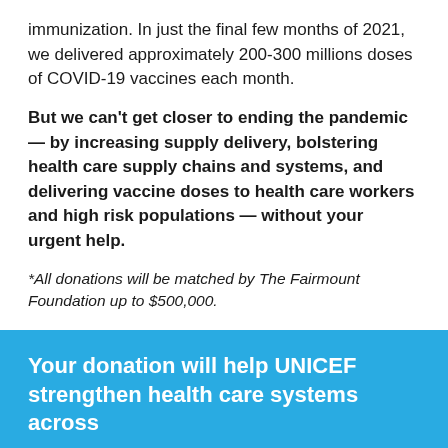immunization. In just the final few months of 2021, we delivered approximately 200-300 millions doses of COVID-19 vaccines each month.
But we can't get closer to ending the pandemic — by increasing supply delivery, bolstering health care supply chains and systems, and delivering vaccine doses to health care workers and high risk populations — without your urgent help.
*All donations will be matched by The Fairmount Foundation up to $500,000.
Your donation will help UNICEF strengthen health care systems across